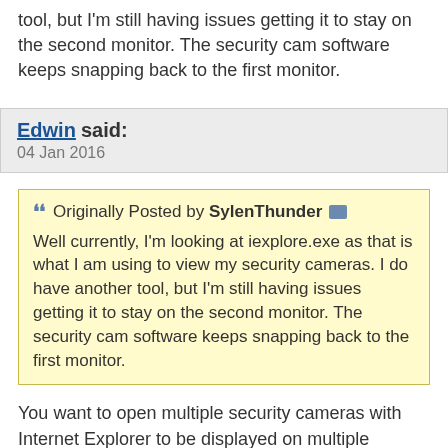tool, but I'm still having issues getting it to stay on the second monitor. The security cam software keeps snapping back to the first monitor.
Edwin said:
04 Jan 2016
Originally Posted by SylenThunder
Well currently, I'm looking at iexplore.exe as that is what I am using to view my security cameras. I do have another tool, but I'm still having issues getting it to stay on the second monitor. The security cam software keeps snapping back to the first monitor.
You want to open multiple security cameras with Internet Explorer to be displayed on multiple monitors?
SylenThunder said:
04 Jan 2016
I need to maintain interface for the second...